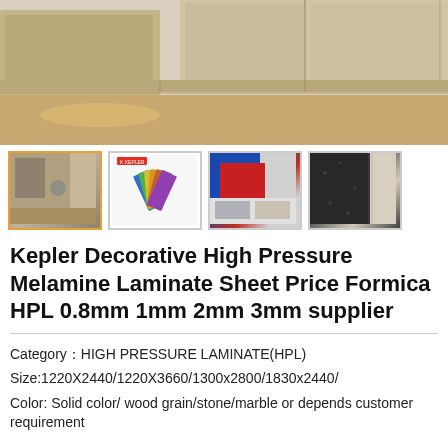[Figure (photo): Main product image showing wooden kitchen cabinets with light wood grain finish, modern kitchen interior]
[Figure (photo): Four product thumbnail images: (1) kitchen interior with cabinets highlighted in orange border, (2) colorful fan of laminate sheets with Kepler logo, (3) decorative laminate samples with blue/red colors, (4) dark granite/stone texture laminate]
Kepler Decorative High Pressure Melamine Laminate Sheet Price Formica HPL 0.8mm 1mm 2mm 3mm supplier
Category：HIGH PRESSURE LAMINATE(HPL)
Size:1220X2440/1220X3660/1300x2800/1830x2440/
Color: Solid color/ wood grain/stone/marble or depends customer requirement